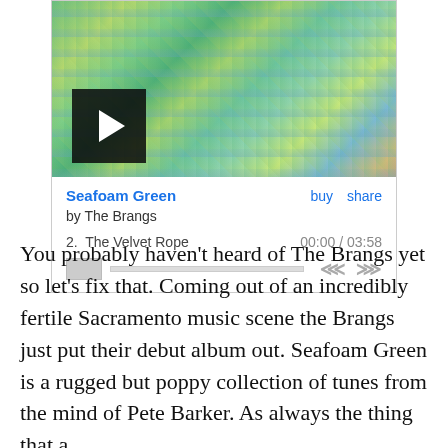[Figure (screenshot): Music player widget showing album art for 'Seafoam Green' by The Brangs. Album art is a colorful abstract painting in greens, yellows, and blues. A play button is overlaid on the bottom-left of the art. Below the art: title 'Seafoam Green', buy/share links, artist 'by The Brangs', track '2. The Velvet Rope' with time '00:00 / 03:58', a progress bar with thumb, and skip controls.]
You probably haven't heard of The Brangs yet so let's fix that. Coming out of an incredibly fertile Sacramento music scene the Brangs just put their debut album out. Seafoam Green is a rugged but poppy collection of tunes from the mind of Pete Barker. As always the thing that a